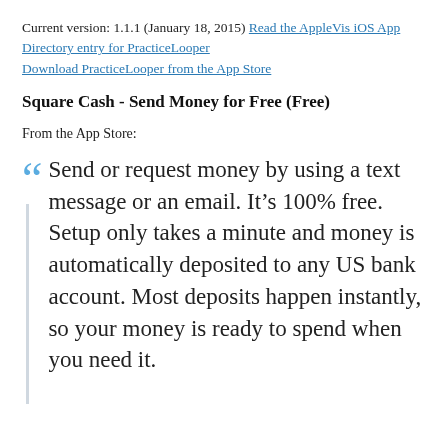Current version: 1.1.1 (January 18, 2015) Read the AppleVis iOS App Directory entry for PracticeLooper Download PracticeLooper from the App Store
Square Cash - Send Money for Free (Free)
From the App Store:
Send or request money by using a text message or an email. It's 100% free. Setup only takes a minute and money is automatically deposited to any US bank account. Most deposits happen instantly, so your money is ready to spend when you need it.